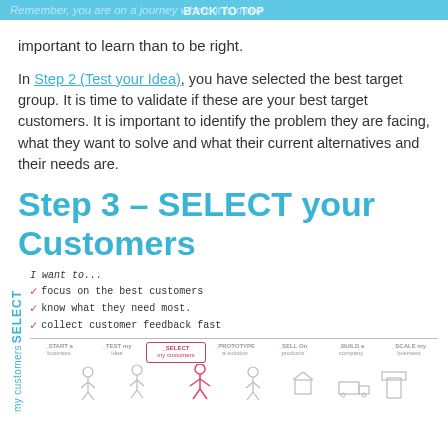BACK TO TOP
Remember, you are on a journey where it is more important to learn than to be right.
In Step 2 (Test your Idea), you have selected the best target group. It is time to validate if these are your best target customers. It is important to identify the problem they are facing, what they want to solve and what their current alternatives and their needs are.
Step 3 – SELECT your Customers
[Figure (infographic): SELECT my customers infographic showing a checklist 'I want to... focus on the best customers, know what they need most, collect customer feedback fast' with a horizontal steps bar: START a business, TEST my idea, SELECT my customers (highlighted), PROTOTYPE a solution, SELL On products, BUILD a company, SCALE my business. Stick figures shown at the bottom.]